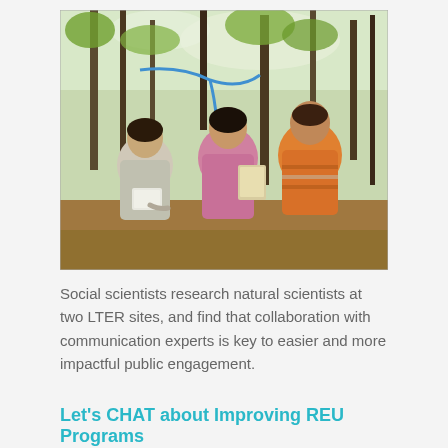[Figure (photo): Three young people standing in a wooded outdoor setting. One person on the left wearing a grey hoodie is writing on a clipboard/notepad. A person in the middle wears a pink hoodie. A person on the right wears an orange striped shirt and appears to be looking up. Blue ribbons or tape is visible on tree branches. The background shows bare trees with early spring leaves.]
Social scientists research natural scientists at two LTER sites, and find that collaboration with communication experts is key to easier and more impactful public engagement.
Let's CHAT about Improving REU Programs